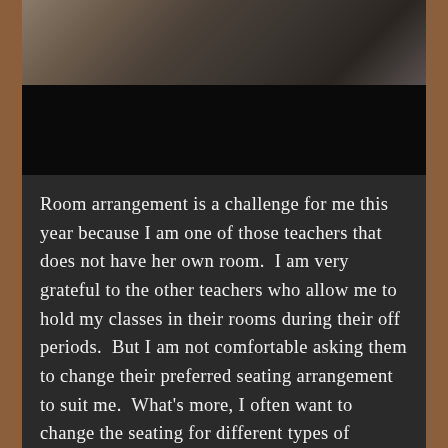[Figure (photo): Classroom photo showing students and chairs, partially obscured with a black bar at the bottom of the image.]
Room arrangement is a challenge for me this year because I am one of those teachers that does not have her own room.  I am very grateful to the other teachers who allow me to hold my classes in their rooms during their off periods.  But I am not comfortable asking them to change their preferred seating arrangement to suit me.  What's more, I often want to change the seating for different types of activities.